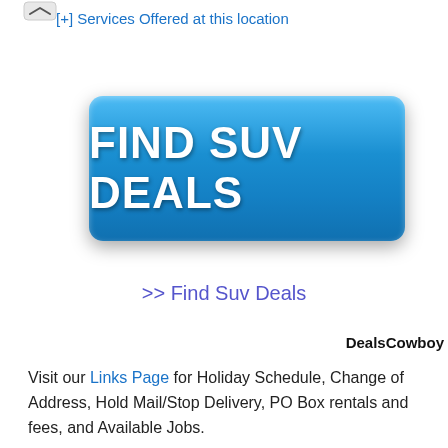[+] Services Offered at this location
[Figure (other): Blue rounded rectangle button with white bold text reading FIND SUV DEALS]
>> Find Suv Deals
DealsCowboy
Visit our Links Page for Holiday Schedule, Change of Address, Hold Mail/Stop Delivery, PO Box rentals and fees, and Available Jobs.